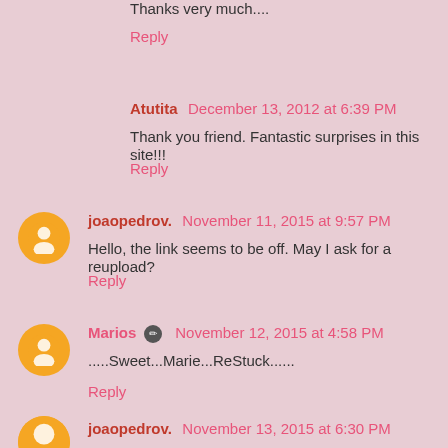Thanks very much....
Reply
Atutita  December 13, 2012 at 6:39 PM
Thank you friend. Fantastic surprises in this site!!!
Reply
joaopedrov.  November 11, 2015 at 9:57 PM
Hello, the link seems to be off. May I ask for a reupload?
Reply
Marios  November 12, 2015 at 4:58 PM
.....Sweet...Marie...ReStuck......
Reply
joaopedrov.  November 13, 2015 at 6:30 PM